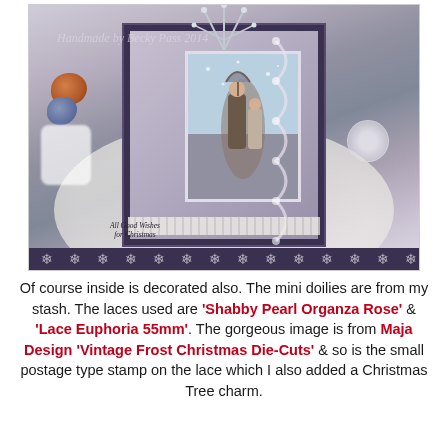[Figure (photo): A decorated vintage shabby-chic Christmas card standing open, featuring children in winter scene image, lace trim, paper roses in orange and blue, white decorative snowflake and lace elements, silver foliage at top, displayed on a white doily. Watermark reads 'Handmade by Becky Pass 2014'.]
Of course inside is decorated also. The mini doilies are from my stash. The laces used are 'Shabby Pearl Organza Rose' & 'Lace Euphoria 55mm'. The gorgeous image is from Maja Design 'Vintage Frost Christmas Die-Cuts' & so is the small postage type stamp on the lace which I also added a Christmas Tree charm.